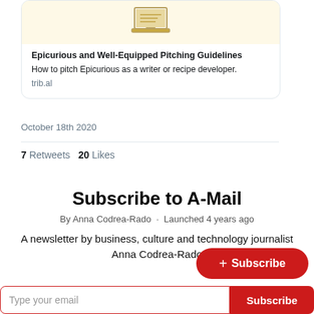[Figure (illustration): Laptop illustration on pale yellow background inside tweet card preview]
Epicurious and Well-Equipped Pitching Guidelines
How to pitch Epicurious as a writer or recipe developer.
trib.al
October 18th 2020
7 Retweets  20 Likes
Subscribe to A-Mail
By Anna Codrea-Rado · Launched 4 years ago
A newsletter by business, culture and technology journalist Anna Codrea-Rado
+ Subscribe
Type your email
Subscribe